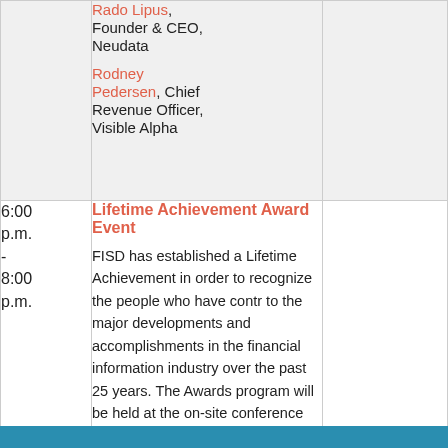| Time | Session |  |
| --- | --- | --- |
|  | Rado Lipus, Founder & CEO, Neudata
Rodney Pedersen, Chief Revenue Officer, Visible Alpha |  |
| 6:00 p.m. - 8:00 p.m. | Lifetime Achievement Award Event
FISD has established a Lifetime Achievement order to recognize the people who have contributed to the major developments and accomplishments in the financial information industry over the past 25 years. The Awards program will be held at the on-site conference hotel – Hilton Prague. This semi-formal event will honor the 2022 Market Data Lifetime Achievement Award winner. |  |